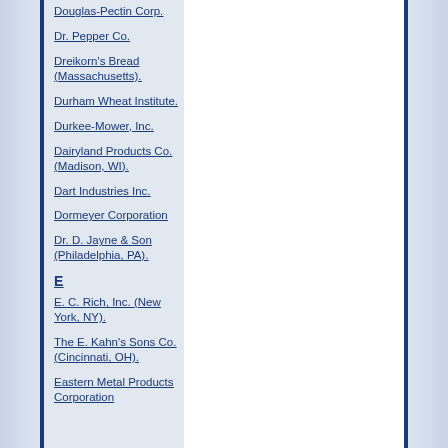Douglas-Pectin Corp.
Dr. Pepper Co.
Dreikorn's Bread (Massachusetts).
Durham Wheat Institute.
Durkee-Mower, Inc.
Dairyland Products Co. (Madison, WI).
Dart Industries Inc.
Dormeyer Corporation
Dr. D. Jayne & Son (Philadelphia, PA).
E
E. C. Rich, Inc. (New York, NY).
The E. Kahn's Sons Co. (Cincinnati, OH).
Eastern Metal Products Corporation